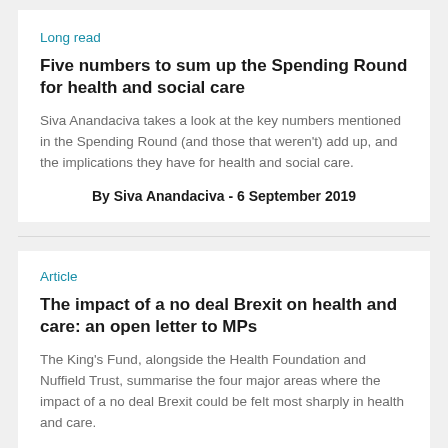Long read
Five numbers to sum up the Spending Round for health and social care
Siva Anandaciva takes a look at the key numbers mentioned in the Spending Round (and those that weren't) add up, and the implications they have for health and social care.
By Siva Anandaciva - 6 September 2019
Article
The impact of a no deal Brexit on health and care: an open letter to MPs
The King's Fund, alongside the Health Foundation and Nuffield Trust, summarise the four major areas where the impact of a no deal Brexit could be felt most sharply in health and care.